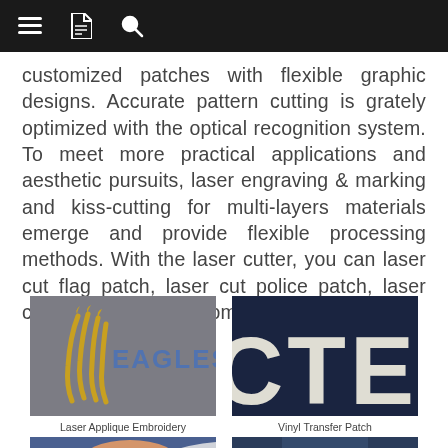Navigation bar with menu, document, and search icons
customized patches with flexible graphic designs. Accurate pattern cutting is grately optimized with the optical recognition system. To meet more practical applications and aesthetic pursuits, laser engraving & marking and kiss-cutting for multi-layers materials emerge and provide flexible processing methods. With the laser cutter, you can laser cut flag patch, laser cut police patch, laser cut velcro patch, custom tactical patches.
[Figure (photo): Photo of an Eagles embroidered patch on grey fabric, showing golden claw marks and blue 'EAGLES' lettering]
Laser Applique Embroidery
[Figure (photo): Photo of a dark navy jersey/fabric with large white lettering, partially visible letters CTE]
Vinyl Transfer Patch
[Figure (photo): Photo of a hand peeling a white backing off a blue transfer patch]
[Figure (photo): Photo of a sports jersey with GRONKOWSKI text visible at bottom]